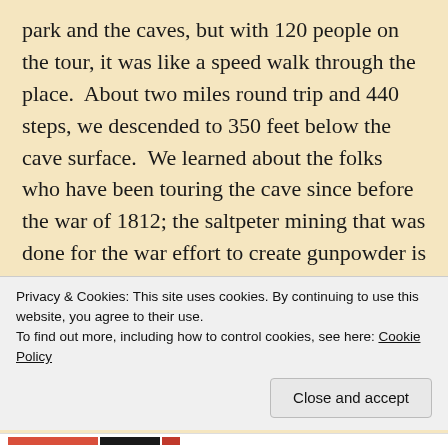park and the caves, but with 120 people on the tour, it was like a speed walk through the place.  About two miles round trip and 440 steps, we descended to 350 feet below the cave surface.  We learned about the folks who have been touring the cave since before the war of 1812; the saltpeter mining that was done for the war effort to create gunpowder is still in evidence.  Years later, young Stephen Bishop, a slave, mapped as much of the cave as he could and gave tours to the upper class and scientists from around the world, this all happened before the Civil War.  The stories were fascinating, but the cave itself is stark.  Nothing like you would find at
Privacy & Cookies: This site uses cookies. By continuing to use this website, you agree to their use.
To find out more, including how to control cookies, see here: Cookie Policy
Close and accept